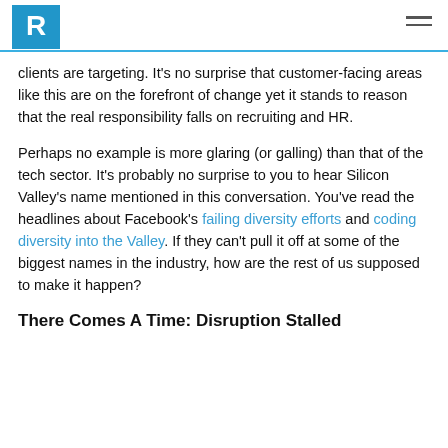R [logo]
clients are targeting. It's no surprise that customer-facing areas like this are on the forefront of change yet it stands to reason that the real responsibility falls on recruiting and HR.
Perhaps no example is more glaring (or galling) than that of the tech sector. It's probably no surprise to you to hear Silicon Valley's name mentioned in this conversation. You've read the headlines about Facebook's failing diversity efforts and coding diversity into the Valley. If they can't pull it off at some of the biggest names in the industry, how are the rest of us supposed to make it happen?
There Comes A Time: Disruption Stalled